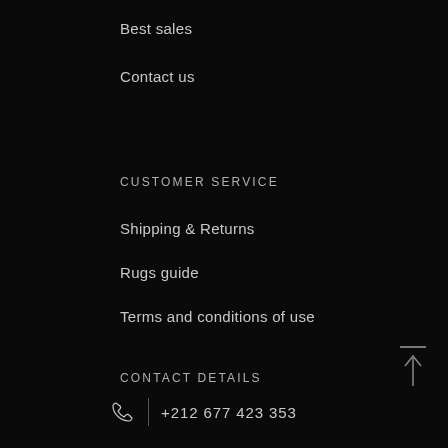Best sales
Contact us
CUSTOMER SERVICE
Shipping & Returns
Rugs guide
Terms and conditions of use
CONTACT DETAILS
+212 677 423 353